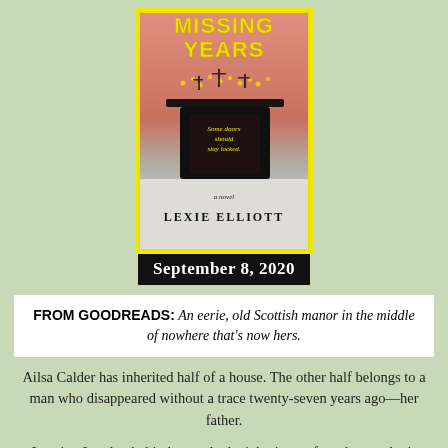[Figure (illustration): Book cover for 'The Missing Years' by Lexie Elliott, showing a dark fireplace mantel with candles and lights against a pink/salmon background with a yellow border, and tagline 'Some doors should stay locked.' Published September 8, 2020.]
FROM GOODREADS: An eerie, old Scottish manor in the middle of nowhere that's now hers.
Ailsa Calder has inherited half of a house. The other half belongs to a man who disappeared without a trace twenty-seven years ago—her father.
Leaving London behind to settle the inheritance from her mother's estate, Ailsa returns to her childhood home, nestled